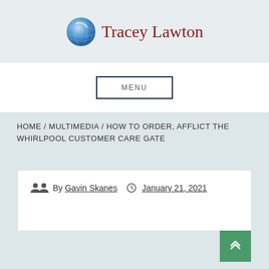Tracey Lawton
MENU
HOME / MULTIMEDIA / HOW TO ORDER, AFFLICT THE WHIRLPOOL CUSTOMER CARE GATE
By Gavin Skanes  January 21, 2021